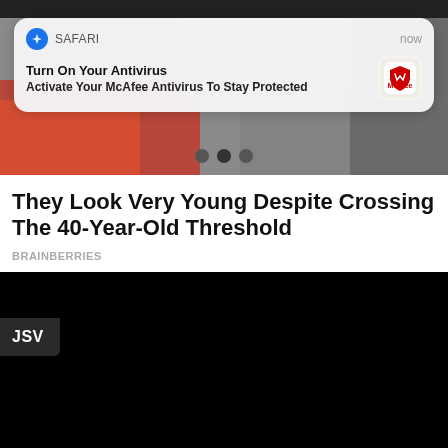[Figure (screenshot): Mobile screenshot showing a news/content aggregator page with a McAfee antivirus Safari push notification overlay on top of a photo carousel. Below the carousel is an article title and source label. The bottom portion shows a dark/black video or content area with a JSV badge.]
SAFARI | now
Turn On Your Antivirus
Activate Your McAfee Antivirus To Stay Protected
They Look Very Young Despite Crossing The 40-Year-Old Threshold
BRAINBERRIES
JSV